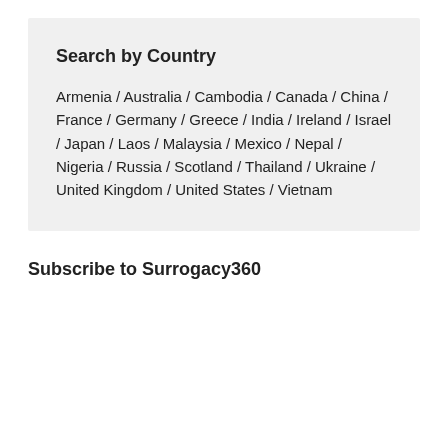Search by Country
Armenia / Australia / Cambodia / Canada / China / France / Germany / Greece / India / Ireland / Israel / Japan / Laos / Malaysia / Mexico / Nepal / Nigeria / Russia / Scotland / Thailand / Ukraine / United Kingdom / United States / Vietnam
Subscribe to Surrogacy360